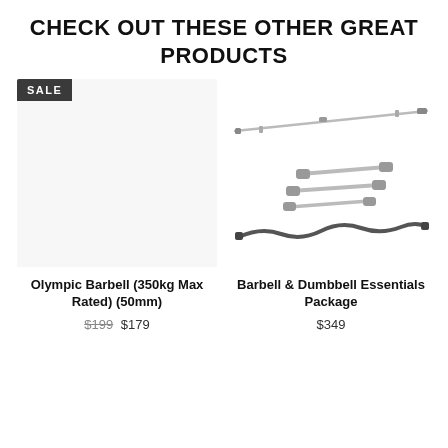CHECK OUT THESE OTHER GREAT PRODUCTS
[Figure (photo): Product image placeholder for Olympic Barbell (350kg Max Rated) (50mm) with SALE badge, light grey background]
Olympic Barbell (350kg Max Rated) (50mm)
$199 $179
[Figure (photo): Product image showing a long barbell rod, two dumbbell bars, and a curl bar (EZ bar), chrome finish]
Barbell & Dumbbell Essentials Package
$349